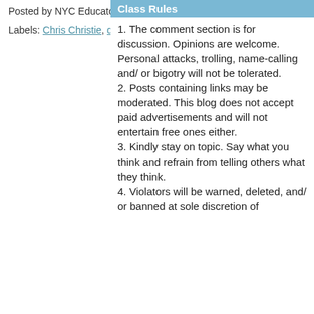Posted by NYC Educator at 4:00 AM
Labels: Chris Christie, due process, tenure
Class Rules
1. The comment section is for discussion. Opinions are welcome. Personal attacks, trolling, name-calling and/or bigotry will not be tolerated.
2. Posts containing links may be moderated. This blog does not accept paid advertisements and will not entertain free ones either.
3. Kindly stay on topic. Say what you think and refrain from telling others what they think.
4. Violators will be warned, deleted, and/ or banned at sole discretion of